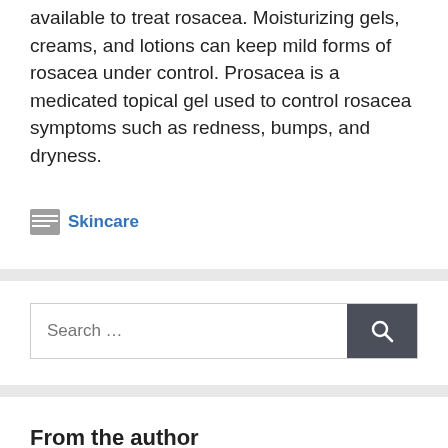available to treat rosacea. Moisturizing gels, creams, and lotions can keep mild forms of rosacea under control. Prosacea is a medicated topical gel used to control rosacea symptoms such as redness, bumps, and dryness.
Skincare
From the author